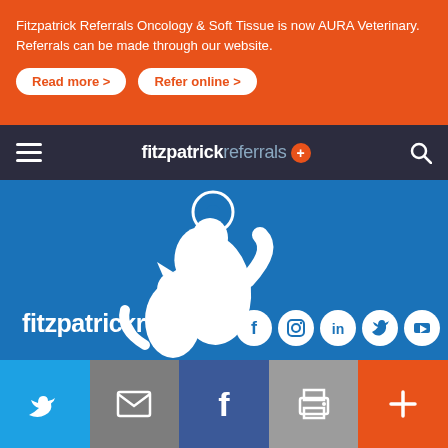Fitzpatrick Referrals Oncology & Soft Tissue is now AURA Veterinary. Referrals can be made through our website.
Read more >
Refer online >
[Figure (logo): Fitzpatrick Referrals logo with navigation bar showing hamburger menu, fitzpatrickreferrals+ branding and search icon]
[Figure (logo): Fitzpatrick Referrals logo on blue background: white silhouette of dog and cat with circular F+ icon above, text 'fitzpatrickreferrals' below, social media icons (Facebook, Instagram, LinkedIn, Twitter, YouTube)]
[Figure (infographic): Bottom action bar with Twitter, Email, Facebook, Print, and More (+) buttons]